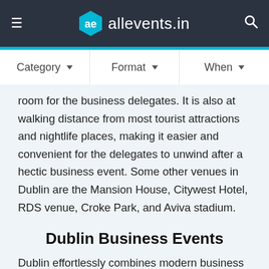ae allevents.in
Category ▼   Format ▼   When ▼
room for the business delegates. It is also at walking distance from most tourist attractions and nightlife places, making it easier and convenient for the delegates to unwind after a hectic business event. Some other venues in Dublin are the Mansion House, Citywest Hotel, RDS venue, Croke Park, and Aviva stadium.
Dublin Business Events
Dublin effortlessly combines modern business dynamics with its traditional values and laid-back Irish quality, making it an exciting city for business tourists from across the world. It scores high on facilities, accessibility and the service to its